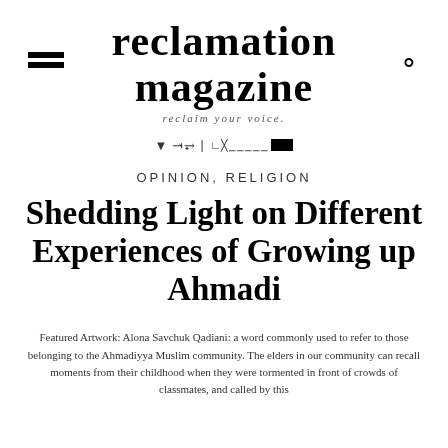reclamation magazine
reclaim your voice.
OPINION, RELIGION
Shedding Light on Different Experiences of Growing up Ahmadi
Featured Artwork: Alona Savchuk Qadiani: a word commonly used to refer to those belonging to the Ahmadiyya Muslim community. The elders in our community can recall moments from their childhood when they were tormented in front of crowds of classmates, and called by this